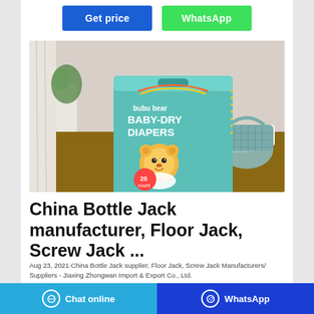[Figure (other): Get price button (blue) and WhatsApp button (green) at the top of the page]
[Figure (photo): Product photo of bubu bear Baby-Dry Diapers package (28 count) on a wooden table with a basket and plants in the background]
China Bottle Jack manufacturer, Floor Jack, Screw Jack ...
Aug 23, 2021-China Bottle Jack supplier, Floor Jack, Screw Jack Manufacturers/ Suppliers - Jiaxing Zhongwan Import & Export Co., Ltd.
[Figure (other): Bottom bar with Chat online button (light blue) and WhatsApp button (dark blue)]